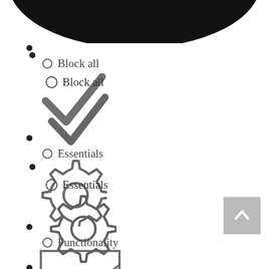[Figure (illustration): Partial black shape at top of page — bottom of a smiley face or similar icon, cropped at top]
• (bullet point)
[Figure (illustration): Radio button circle followed by text 'Block all']
[Figure (illustration): Large grey checkmark icon]
• (bullet point)
[Figure (illustration): Radio button circle followed by text 'Essentials']
[Figure (illustration): Gear/settings icon]
• (bullet point)
[Figure (illustration): Radio button circle followed by text 'Functionality']
[Figure (illustration): Analytics/graph icon showing area chart in a box]
• (bullet point)
[Figure (illustration): Radio button circle followed by text 'Analytics']
[Figure (illustration): Arrow pointing right with dots on left, and arrow pointing left with dots on right — representing data transfer arrows]